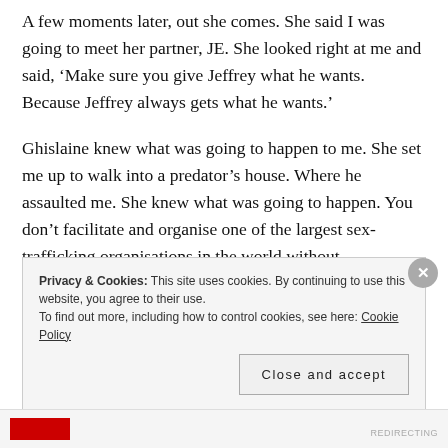A few moments later, out she comes. She said I was going to meet her partner, JE. She looked right at me and said, ‘Make sure you give Jeffrey what he wants. Because Jeffrey always gets what he wants.’
Ghislaine knew what was going to happen to me. She set me up to walk into a predator’s house. Where he assaulted me. She knew what was going to happen. You don’t facilitate and organise one of the largest sex-trafficking organisations in the world without intentionally knowing what you are doing. And without intentionally playing your role. And not only intentionally, but very masterfully. She
Privacy & Cookies: This site uses cookies. By continuing to use this website, you agree to their use.
To find out more, including how to control cookies, see here: Cookie Policy